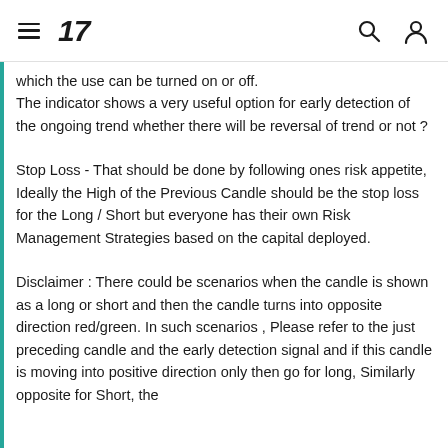TradingView
which the use can be turned on or off.
The indicator shows a very useful option for early detection of the ongoing trend whether there will be reversal of trend or not ?
Stop Loss - That should be done by following ones risk appetite, Ideally the High of the Previous Candle should be the stop loss for the Long / Short but everyone has their own Risk Management Strategies based on the capital deployed.
Disclaimer : There could be scenarios when the candle is shown as a long or short and then the candle turns into opposite direction red/green. In such scenarios , Please refer to the just preceding candle and the early detection signal and if this candle is moving into positive direction only then go for long, Similarly opposite for Short, the